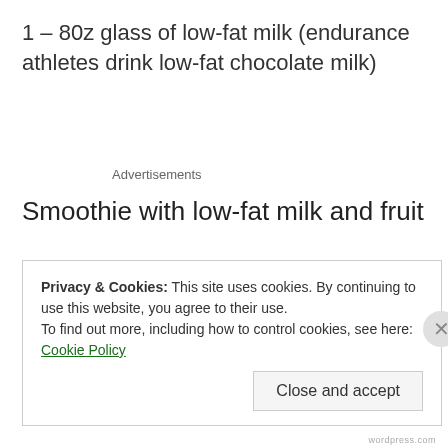1 – 80z glass of low-fat milk (endurance athletes drink low-fat chocolate milk)
Advertisements
Smoothie with low-fat milk and fruit
Privacy & Cookies: This site uses cookies. By continuing to use this website, you agree to their use.
To find out more, including how to control cookies, see here: Cookie Policy
Close and accept